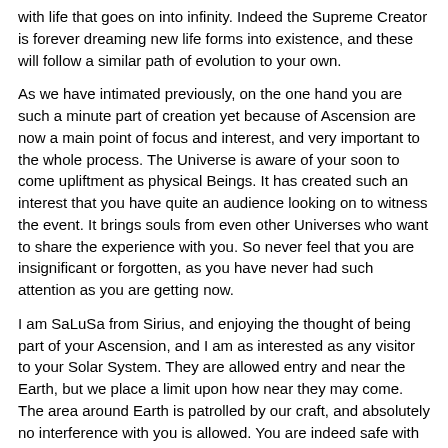with life that goes on into infinity. Indeed the Supreme Creator is forever dreaming new life forms into existence, and these will follow a similar path of evolution to your own.
As we have intimated previously, on the one hand you are such a minute part of creation yet because of Ascension are now a main point of focus and interest, and very important to the whole process. The Universe is aware of your soon to come upliftment as physical Beings. It has created such an interest that you have quite an audience looking on to witness the event. It brings souls from even other Universes who want to share the experience with you. So never feel that you are insignificant or forgotten, as you have never had such attention as you are getting now.
I am SaLuSa from Sirius, and enjoying the thought of being part of your Ascension, and I am as interested as any visitor to your Solar System. They are allowed entry and near the Earth, but we place a limit upon how near they may come. The area around Earth is patrolled by our craft, and absolutely no interference with you is allowed. You are indeed safe with us as your mentors.
Thank you SaLuSa.
Mike Quinsey.